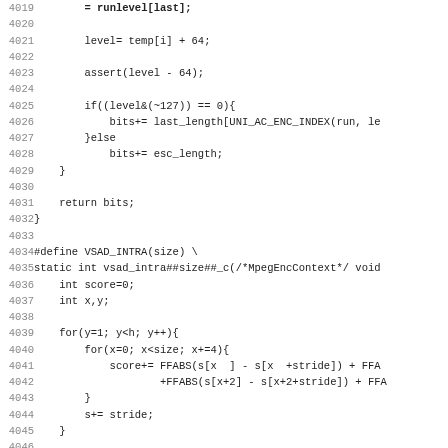Source code listing, lines 4019-4051, showing C code for audio/video encoding functions including VSAD_INTRA macro and vsad_intra function.